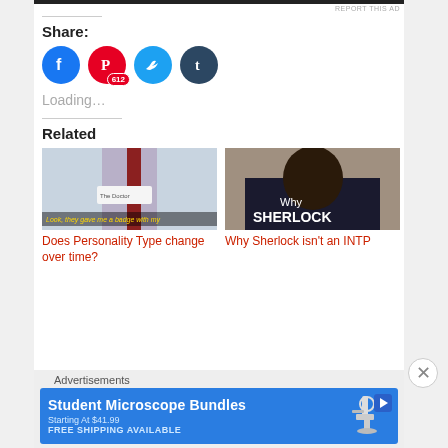REPORT THIS AD
Share:
[Figure (infographic): Social share buttons: Facebook (blue circle with f), Pinterest (red circle with P and 612 badge), Twitter (cyan circle with bird), Tumblr (dark circle with t)]
Loading…
Related
[Figure (photo): Photo of a person wearing a white shirt with a red tie and a name badge reading 'The Doctor', with yellow italic caption 'Look, they gave me a badge with my']
Does Personality Type change over time?
[Figure (photo): Photo of person seen from behind wearing a dark coat with text 'Why SHERLOCK' visible, with curly dark hair]
Why Sherlock isn't an INTP
Advertisements
[Figure (infographic): Advertisement banner: blue background, text 'Student Microscope Bundles', 'Starting At $41.99', 'FREE SHIPPING AVAILABLE', microscope image on right, play button icon top right]